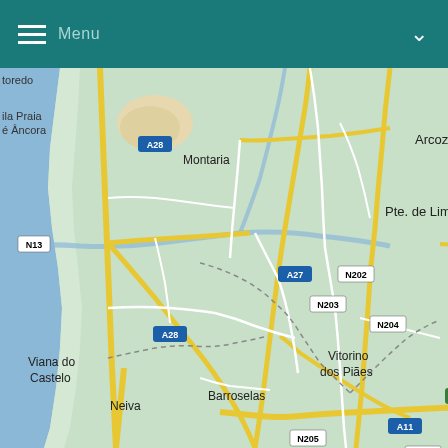[Figure (map): Road map of northwestern Portugal showing region around Viana do Castelo, Braga, Barcelos, Vila Verde, Pte. de Lima and surrounding towns with road labels (A28, A27, A11, N101, N201, N202, N203, N204, N205, N205-3, IC28, E1) and place names including Montaria, Arcozelo, Nogueira, Pte. da Barca, Valdevez, Terras de Bouro, Vitorino dos Piães, Barroselas, Neiva, Esposende, Fão, Apúlia, Vila Boa, Barcelos, Vila de Prado, Adaúfe, Póvoa de Lanhoso. Atlantic Ocean visible on left edge. Teal app header bar with hamburger menu icon and 'Menu' label at top.]